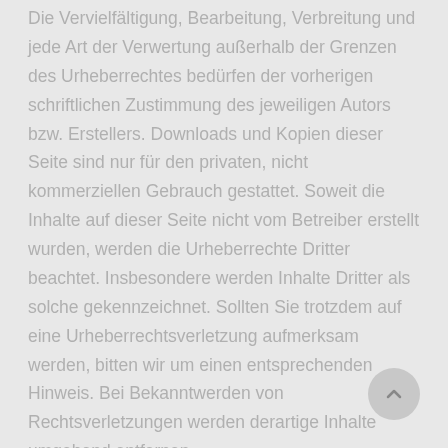Die Vervielfältigung, Bearbeitung, Verbreitung und jede Art der Verwertung außerhalb der Grenzen des Urheberrechtes bedürfen der vorherigen schriftlichen Zustimmung des jeweiligen Autors bzw. Erstellers. Downloads und Kopien dieser Seite sind nur für den privaten, nicht kommerziellen Gebrauch gestattet. Soweit die Inhalte auf dieser Seite nicht vom Betreiber erstellt wurden, werden die Urheberrechte Dritter beachtet. Insbesondere werden Inhalte Dritter als solche gekennzeichnet. Sollten Sie trotzdem auf eine Urheberrechtsverletzung aufmerksam werden, bitten wir um einen entsprechenden Hinweis. Bei Bekanntwerden von Rechtsverletzungen werden derartige Inhalte umgehend entfernen.